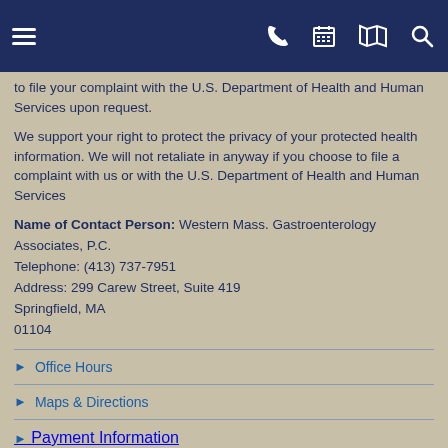Navigation bar with hamburger menu, phone, calendar, map, and search icons
to file your complaint with the U.S. Department of Health and Human Services upon request.
We support your right to protect the privacy of your protected health information. We will not retaliate in anyway if you choose to file a complaint with us or with the U.S. Department of Health and Human Services
Name of Contact Person: Western Mass. Gastroenterology Associates, P.C.
Telephone: (413) 737-7951
Address: 299 Carew Street, Suite 419
Springfield, MA
01104
Office Hours
Maps & Directions
Payment Information